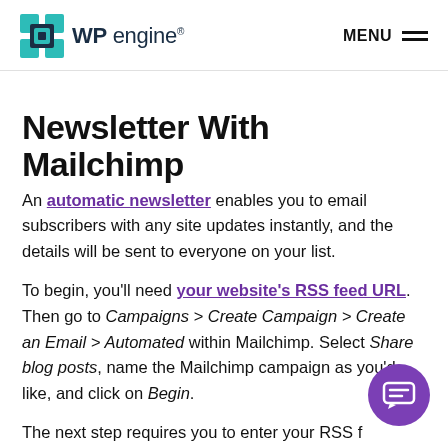WP engine® MENU
Newsletter With Mailchimp
An automatic newsletter enables you to email subscribers with any site updates instantly, and the details will be sent to everyone on your list.
To begin, you'll need your website's RSS feed URL. Then go to Campaigns > Create Campaign > Create an Email > Automated within Mailchimp. Select Share blog posts, name the Mailchimp campaign as you'd like, and click on Begin.
The next step requires you to enter your RSS feed URL, select a sending time, and configure any other